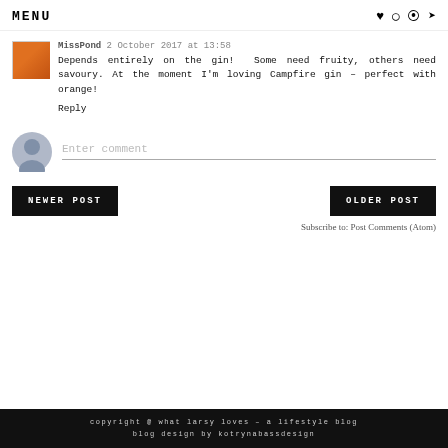MENU
MissPond 2 October 2017 at 13:58
Depends entirely on the gin! Some need fruity, others need savoury. At the moment I'm loving Campfire gin – perfect with orange!
Reply
Enter comment
NEWER POST
OLDER POST
Subscribe to: Post Comments (Atom)
copyright @ what larsy loves – a lifestyle blog
blog design by kotrynabassdesign